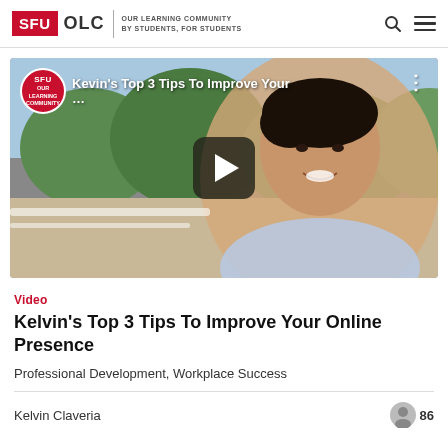SFU OLC | OUR LEARNING COMMUNITY BY STUDENTS, FOR STUDENTS
[Figure (screenshot): YouTube video thumbnail showing a young man smiling outdoors with trees in background. SFU Our Learning Community badge in top-left. Title: Kevin's Top 3 Tips To Improve Your… Play button overlay in center.]
Video
Kelvin's Top 3 Tips To Improve Your Online Presence
Professional Development, Workplace Success
Kelvin Claveria